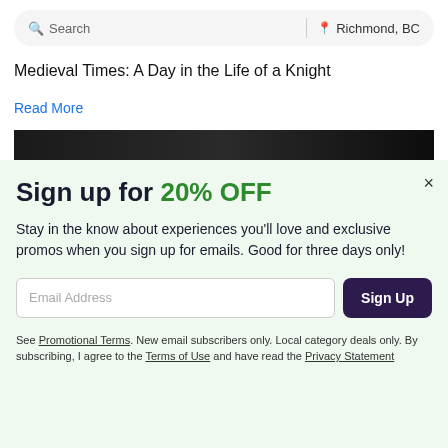[Figure (screenshot): Search bar with search icon and text 'Search', vertical divider, location pin icon and text 'Richmond, BC']
Medieval Times: A Day in the Life of a Knight
Read More
[Figure (photo): Dark image strip, partially visible, dark tones]
Sign up for 20% OFF
Stay in the know about experiences you'll love and exclusive promos when you sign up for emails. Good for three days only!
Email Address
Sign Up
See Promotional Terms. New email subscribers only. Local category deals only. By subscribing, I agree to the Terms of Use and have read the Privacy Statement